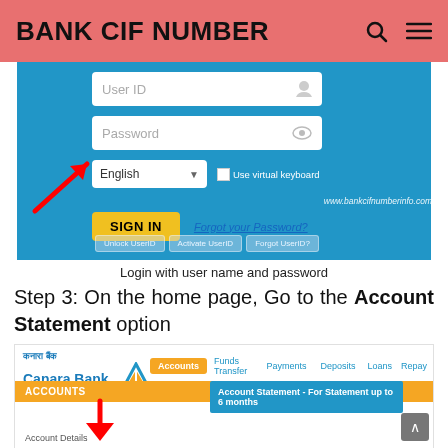BANK CIF NUMBER
[Figure (screenshot): Bank login page screenshot showing User ID field, Password field, English language selector, Use virtual keyboard checkbox, SIGN IN button, Forgot your Password? link, and bottom buttons for Unlock UserID, Activate UserID, Forgot UserID. A red arrow points to the SIGN IN button.]
Login with user name and password
Step 3: On the home page, Go to the Account Statement option
[Figure (screenshot): Canara Bank internet banking screenshot showing the top navigation bar with Accounts (highlighted), Funds Transfer, Payments, Deposits, Loans, Repay menu items. An Accounts section bar is shown with a red arrow pointing down, and an Account Statement - For Statement up to 6 months blue box is visible.]